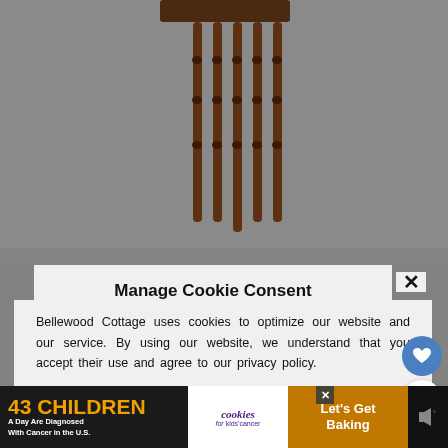[Figure (photo): Photograph of a wooden chair back with spindles, dark brown wood against gray background, split by cookie consent modal overlay]
Manage Cookie Consent
Bellewood Cottage uses cookies to optimize our website and our service. By using our website, we understand that you accept their use and agree to our privacy policy.
ACCEPT
Privacy Policy  Privacy Policy
[Figure (infographic): Advertisement banner: '43 CHILDREN A Day Are Diagnosed With Cancer in the U.S.' with cookies for kids' cancer logo and 'Let's Get Baking' text]
WHAT'S NEXT → Budget-Friendly...